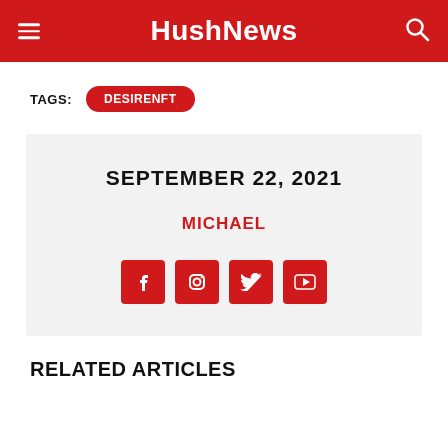HushNews
TAGS: DESIRENFT
SEPTEMBER 22, 2021
MICHAEL
RELATED ARTICLES